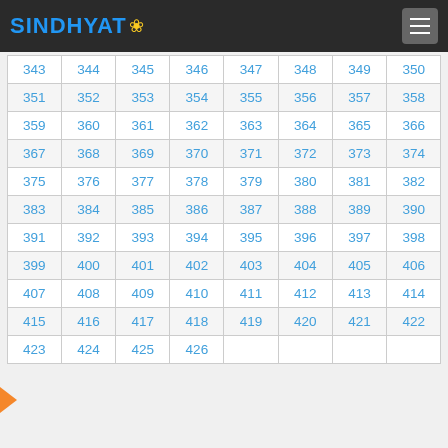SINDHYAT
| 343 | 344 | 345 | 346 | 347 | 348 | 349 | 350 |
| 351 | 352 | 353 | 354 | 355 | 356 | 357 | 358 |
| 359 | 360 | 361 | 362 | 363 | 364 | 365 | 366 |
| 367 | 368 | 369 | 370 | 371 | 372 | 373 | 374 |
| 375 | 376 | 377 | 378 | 379 | 380 | 381 | 382 |
| 383 | 384 | 385 | 386 | 387 | 388 | 389 | 390 |
| 391 | 392 | 393 | 394 | 395 | 396 | 397 | 398 |
| 399 | 400 | 401 | 402 | 403 | 404 | 405 | 406 |
| 407 | 408 | 409 | 410 | 411 | 412 | 413 | 414 |
| 415 | 416 | 417 | 418 | 419 | 420 | 421 | 422 |
| 423 | 424 | 425 | 426 |  |  |  |  |